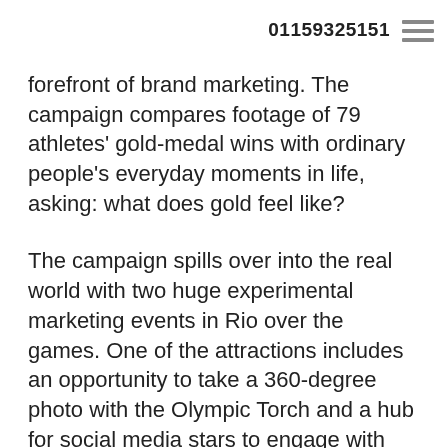01159325151
forefront of brand marketing. The campaign compares footage of 79 athletes' gold-medal wins with ordinary people's everyday moments in life, asking: what does gold feel like?
The campaign spills over into the real world with two huge experimental marketing events in Rio over the games. One of the attractions includes an opportunity to take a 360-degree photo with the Olympic Torch and a hub for social media stars to engage with content for the brand.
GOLD
And the Usain Bolt of digital? That medal goes to